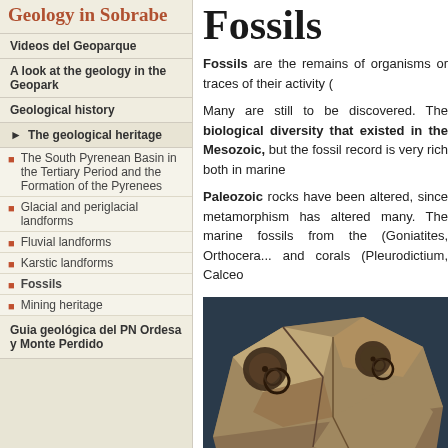Geology in Sobrabe
Videos del Geoparque
A look at the geology in the Geopark
Geological history
► The geological heritage
The South Pyrenean Basin in the Tertiary Period and the Formation of the Pyrenees
Glacial and periglacial landforms
Fluvial landforms
Karstic landforms
Fossils
Mining heritage
Guia geológica del PN Ordesa y Monte Perdido
Fossils
Fossils are the remains of organisms or traces of their activity (
Many are still to be discovered. The biological diversity that existed in the Mesozoic, but the fossil record is very rich both in marine
Paleozoic rocks have been altered, since metamorphism has altered many. The marine fossils from the (Goniatites, Orthoceras...) and corals (Pleurodictium, Calceo
[Figure (photo): A fossil rock specimen showing ammonite or similar spiral marine fossils embedded in stone, photographed against a dark blue background.]